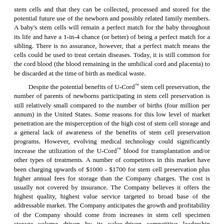stem cells and that they can be collected, processed and stored for the potential future use of the newborn and possibly related family members. A baby's stem cells will remain a perfect match for the baby throughout its life and have a 1-in-4 chance (or better) of being a perfect match for a sibling. There is no assurance, however, that a perfect match means the cells could be used to treat certain diseases. Today, it is still common for the cord blood (the blood remaining in the umbilical cord and placenta) to be discarded at the time of birth as medical waste.
Despite the potential benefits of U-Cord™ stem cell preservation, the number of parents of newborns participating in stem cell preservation is still relatively small compared to the number of births (four million per annum) in the United States. Some reasons for this low level of market penetration are the misperception of the high cost of stem cell storage and a general lack of awareness of the benefits of stem cell preservation programs. However, evolving medical technology could significantly increase the utilization of the U-Cord™ blood for transplantation and/or other types of treatments. A number of competitors in this market have been charging upwards of $1000 - $1700 for stem cell preservation plus higher annual fees for storage than the Company charges. The cost is usually not covered by insurance. The Company believes it offers the highest quality, highest value service targeted to broad base of the addressable market. The Company anticipates the growth and profitability of the Company should come from increases in stem cell specimen storage volume driven by its value-driven competitive leadership position; a fast-growing embedded client base; expanded consumer and professional channels; increased public awareness and accelerated market penetration.
Background
Nearly fifty years ago researchers discovered that cells could be cryopreserved at extremely low temperatures and all cellular activity would cease until the